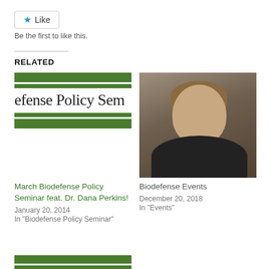[Figure (other): Like button with star icon]
Be the first to like this.
RELATED
[Figure (other): March Biodefense Policy Seminar thumbnail with green bars and partial text 'efense Policy Sem']
March Biodefense Policy Seminar feat. Dr. Dana Perkins!
January 20, 2014
In "Biodefense Policy Seminar"
[Figure (photo): Photo of a man with brown hair and mustache wearing a dark suit, professional headshot]
Biodefense Events
December 20, 2018
In "Events"
[Figure (other): Bottom partial thumbnail with green bars]